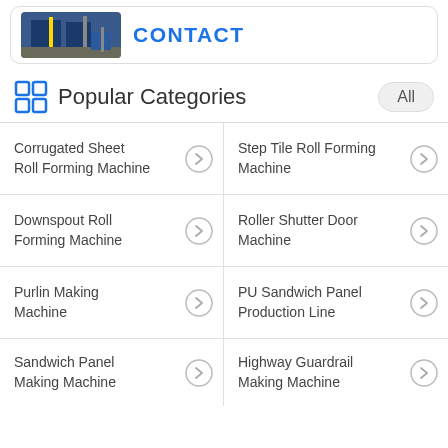[Figure (photo): Industrial machinery photo with blue equipment in a factory setting, partially visible at top]
CONTACT
Popular Categories
Corrugated Sheet Roll Forming Machine
Step Tile Roll Forming Machine
Downspout Roll Forming Machine
Roller Shutter Door Machine
Purlin Making Machine
PU Sandwich Panel Production Line
Sandwich Panel Making Machine
Highway Guardrail Making Machine